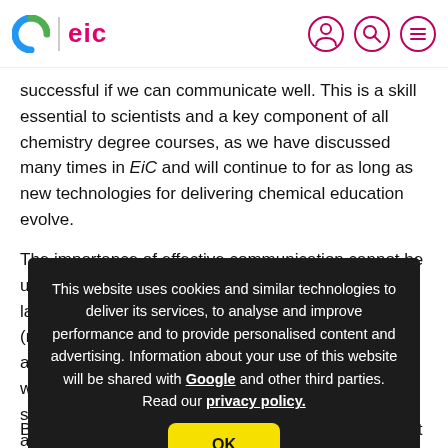eic (Education in Chemistry) website header with logo and navigation icons
successful if we can communicate well. This is a skill essential to scientists and a key component of all chemistry degree courses, as we have discussed many times in EiC and will continue to for as long as new technologies for delivering chemical education evolve.
The importance of effective communication cannot be un... la... (n... o ac... wa... su... al... m...
This website uses cookies and similar technologies to deliver its services, to analyse and improve performance and to provide personalised content and advertising. Information about your use of this website will be shared with Google and other third parties. Read our privacy policy.
Bill Bryson willingly puts his name against a prize that